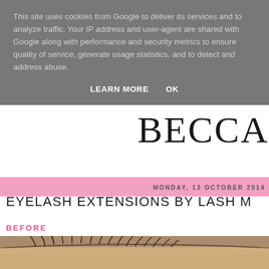This site uses cookies from Google to deliver its services and to analyze traffic. Your IP address and user-agent are shared with Google along with performance and security metrics to ensure quality of service, generate usage statistics, and to detect and address abuse.
LEARN MORE   OK
BECCA
MONDAY, 13 OCTOBER 2014
EYELASH EXTENSIONS BY LASH M
BEFORE
[Figure (photo): Close-up photograph of eyelashes, showing natural lashes before eyelash extensions are applied]